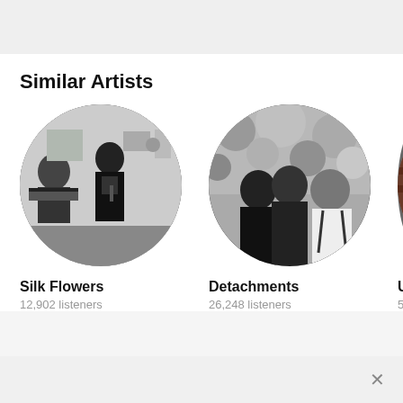Similar Artists
[Figure (photo): Black and white circular photo of Silk Flowers artist performing indoors with keyboard equipment]
Silk Flowers
12,902 listeners
[Figure (photo): Black and white circular photo of Detachments band members standing together against a textured background]
Detachments
26,248 listeners
[Figure (photo): Partially visible circular photo of Uv R artist, cropped at right edge]
Uv R
5,84…